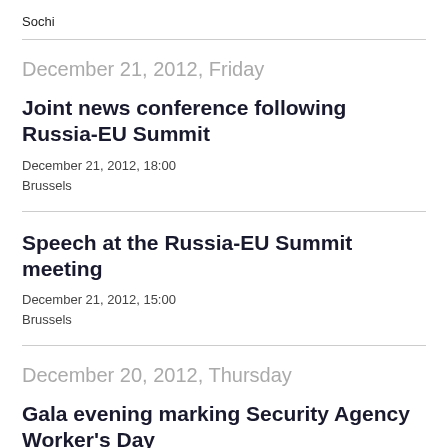Sochi
December 21, 2012, Friday
Joint news conference following Russia-EU Summit
December 21, 2012, 18:00
Brussels
Speech at the Russia-EU Summit meeting
December 21, 2012, 15:00
Brussels
December 20, 2012, Thursday
Gala evening marking Security Agency Worker's Day